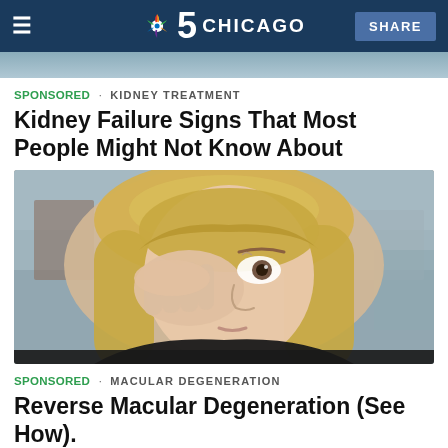NBC 5 Chicago
SPONSORED · KIDNEY TREATMENT
Kidney Failure Signs That Most People Might Not Know About
[Figure (photo): Young blonde woman touching/rubbing her eye with her hand, appearing distressed, outdoor blurred background]
SPONSORED · MACULAR DEGENERATION
Reverse Macular Degeneration (See How).